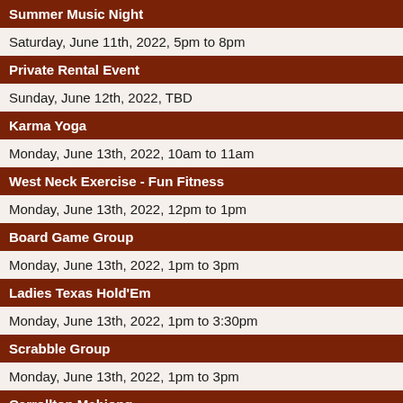Summer Music Night
Saturday, June 11th, 2022, 5pm to 8pm
Private Rental Event
Sunday, June 12th, 2022, TBD
Karma Yoga
Monday, June 13th, 2022, 10am to 11am
West Neck Exercise - Fun Fitness
Monday, June 13th, 2022, 12pm to 1pm
Board Game Group
Monday, June 13th, 2022, 1pm to 3pm
Ladies Texas Hold'Em
Monday, June 13th, 2022, 1pm to 3:30pm
Scrabble Group
Monday, June 13th, 2022, 1pm to 3pm
Carrollton Mahjong